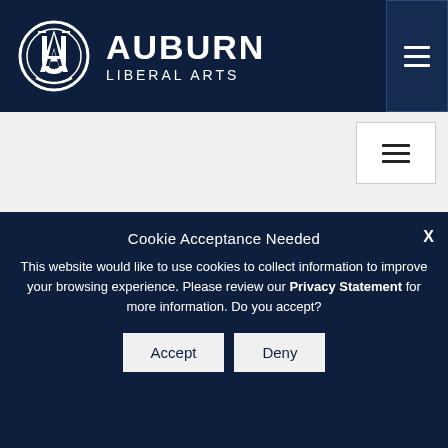[Figure (logo): Auburn University Liberal Arts header with AU logo, AUBURN LIBERAL ARTS text, and hamburger menu button on dark navy background]
[Figure (screenshot): Navigation bar area with hamburger menu button on light gray background]
Cookie Acceptance Needed
This website would like to use cookies to collect information to improve your browsing experience. Please review our Privacy Statement for more information. Do you accept?
Accept  Deny